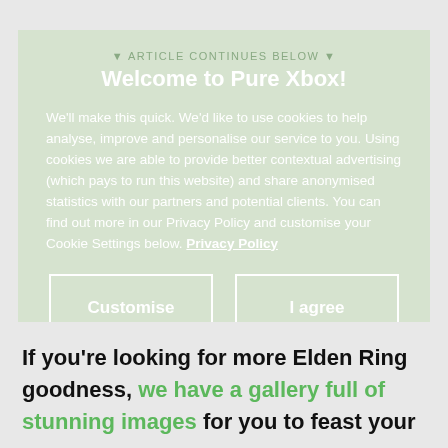▼ ARTICLE CONTINUES BELOW ▼
Welcome to Pure Xbox!
We'll make this quick. We'd like to use cookies to help analyse, improve and personalise our service to you. Using cookies we are able to provide better contextual advertising (which pays to run this website) and share anonymised statistics with our partners and potential clients. You can find out more in our Privacy Policy and customise your Cookie Settings below. Privacy Policy
Customise
I agree
If you're looking for more Elden Ring goodness, we have a gallery full of stunning images for you to feast your